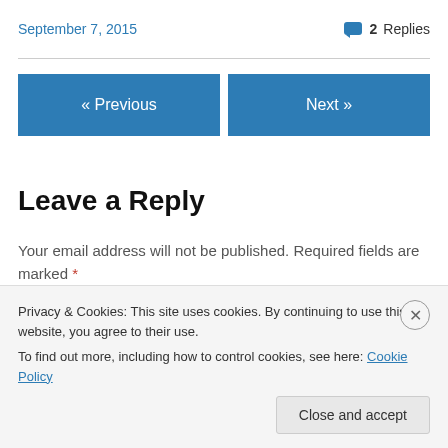September 7, 2015
2 Replies
« Previous
Next »
Leave a Reply
Your email address will not be published. Required fields are marked *
Comment *
Privacy & Cookies: This site uses cookies. By continuing to use this website, you agree to their use.
To find out more, including how to control cookies, see here: Cookie Policy
Close and accept